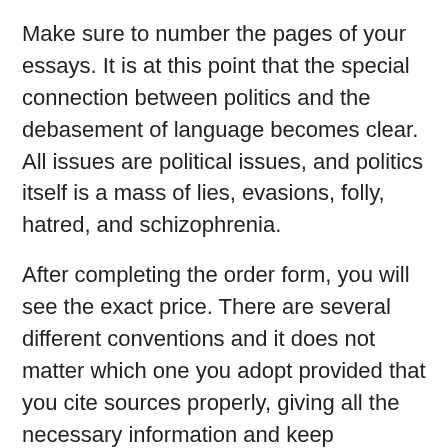Make sure to number the pages of your essays. It is at this point that the special connection between politics and the debasement of language becomes clear. All issues are political issues, and politics itself is a mass of lies, evasions, folly, hatred, and schizophrenia.
After completing the order form, you will see the exact price. There are several different conventions and it does not matter which one you adopt provided that you cite sources properly, giving all the necessary information and keep consistently to the same convention.
All this disrupts his studies and he is pushed off the rails. Easy Ordering System - See below to find out just how easy it is to order an essay from us Plagiarism Free - All of our work will pass an online plagiarism checker.
I think the following rules will cover most cases: Logically,